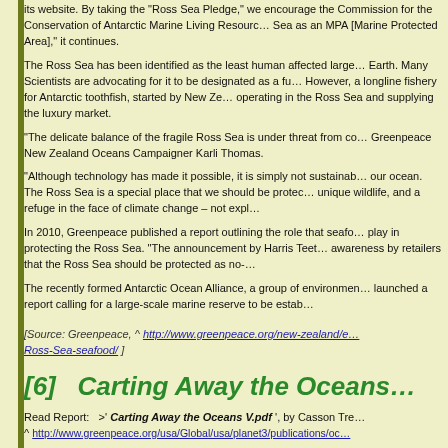its website.  By taking the 'Ross Sea Pledge,' we encourage the Commission for the Conservation of Antarctic Marine Living Resources to designate the Ross Sea as an MPA [Marine Protected Area],' it continues.
The Ross Sea has been identified as the least human affected large marine ecosystem on Earth.  Many Scientists are advocating for it to be designated as a fully protected marine reserve. However, a longline fishery for Antarctic toothfish, started by New Zealand, is now operating in the Ross Sea and supplying the luxury market.
“The delicate balance of the fragile Ross Sea is under threat from commercial fishing,” says Greenpeace New Zealand Oceans Campaigner Karli Thomas.
“Although technology has made it possible, it is simply not sustainable to take toothfish from our ocean. The Ross Sea is a special place that we should be protecting for its pristine nature, unique wildlife, and a refuge in the face of climate change – not exploiting it.”
In 2010, Greenpeace published a report outlining the role that seafood retailers and restaurants play in protecting the Ross Sea.  “The announcement by Harris Teeter acknowledges the growing awareness by retailers that the Ross Sea should be protected as no-take marine reserve.
The recently formed Antarctic Ocean Alliance, a group of environmental organizations, has launched a report calling for a large-scale marine reserve to be established in the Ross Sea.
[Source:  Greenpeace, ^ http://www.greenpeace.org/new-zealand/en/campaigns/Protecting-our-Ross-Sea-seafood/ ]
[6]   Carting Away the Oceans…
Read Report:   >' Carting Away the Oceans V.pdf ', by Casson Trenor ^ http://www.greenpeace.org/usa/Global/usa/planet3/publications/oceans/2010/